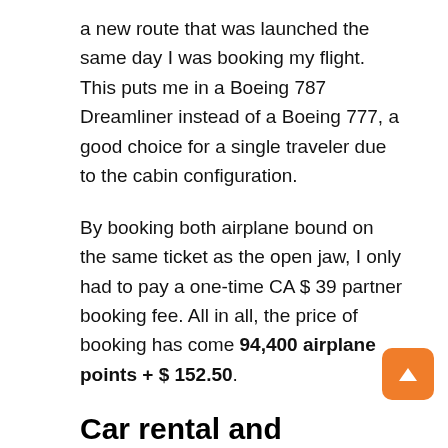a new route that was launched the same day I was booking my flight. This puts me in a Boeing 787 Dreamliner instead of a Boeing 777, a good choice for a single traveler due to the cabin configuration.
By booking both airplane bound on the same ticket as the open jaw, I only had to pay a one-time CA $39 partner booking fee. All in all, the price of booking has come 94,400 airplane points + $ 152.50.
Car rental and activities
Digging deeper into what I wanted to see and do, I decided to rent a few cars.
For Al Mahr, I am taking a two-day fare from Dubai to Abu Dhabi International Airport as a one-way